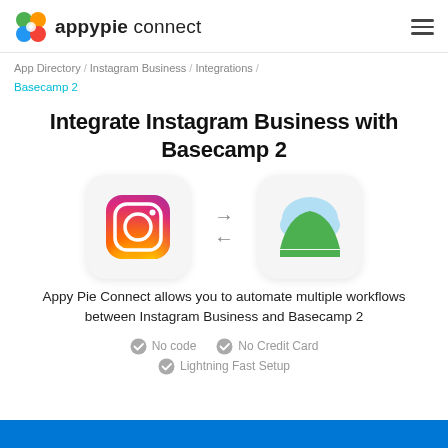appypie connect
App Directory / Instagram Business / Integrations / Basecamp 2
Integrate Instagram Business with Basecamp 2
[Figure (logo): Instagram Business logo and Basecamp 2 logo with bidirectional arrows between them]
Appy Pie Connect allows you to automate multiple workflows between Instagram Business and Basecamp 2
No code  No Credit Card  Lightning Fast Setup